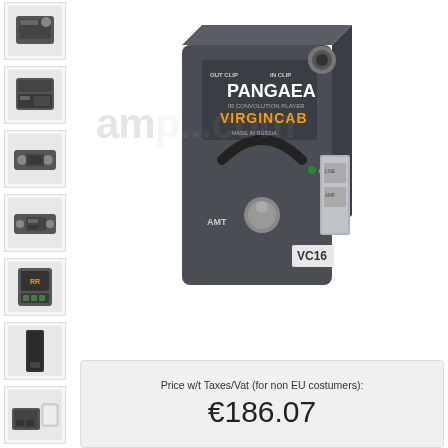[Figure (photo): Thumbnail 1: top view of AMT Pangaea VC16 IR convolution pedal]
[Figure (photo): Thumbnail 2: front panel view of AMT Pangaea VC16]
[Figure (photo): Thumbnail 3: side/rear view of AMT Pangaea VC16]
[Figure (photo): Thumbnail 4: another angle of AMT Pangaea VC16]
[Figure (photo): Thumbnail 5: front display panel of AMT Pangaea VC16]
[Figure (photo): Thumbnail 6: black side view of AMT Pangaea VC16]
[Figure (photo): Thumbnail 7: open box/accessories view of AMT Pangaea VC16]
[Figure (photo): Main product image: AMT Pangaea VC16 IR Convolution Player VirginCab guitar pedal, dark grey metal box with toggle switch, jack socket, text labels OUT CLIP, IN CLIP, MADE IN RUSSIA, EXT.F, VC16, watermark amp...com in background]
Price w/t Taxes/Vat (for non EU costumers):
€186.07